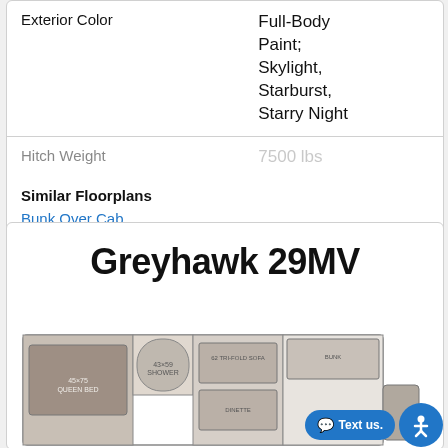|  |  |
| --- | --- |
| Exterior Color | Full-Body Paint; Skylight, Starburst, Starry Night |
| Hitch Weight | 7500 lbs |
Similar Floorplans
Bunk Over Cab
Greyhawk 29MV
[Figure (floorplan): RV floorplan diagram for Greyhawk 29MV model, showing interior layout with bedroom, bathroom, and living areas. Label '29MV' above the diagram.]